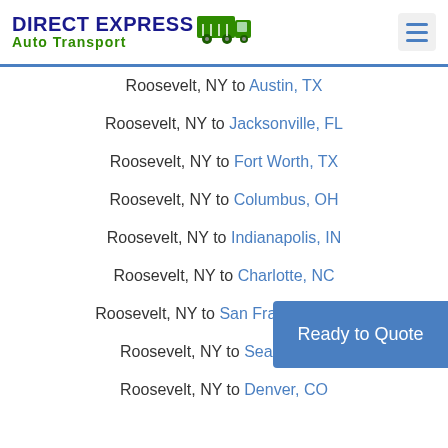DIRECT EXPRESS Auto Transport
Roosevelt, NY to Austin, TX
Roosevelt, NY to Jacksonville, FL
Roosevelt, NY to Fort Worth, TX
Roosevelt, NY to Columbus, OH
Roosevelt, NY to Indianapolis, IN
Roosevelt, NY to Charlotte, NC
Roosevelt, NY to San Francisco, CA
Roosevelt, NY to Seattle, WA
Roosevelt, NY to Denver, CO
Ready to Quote